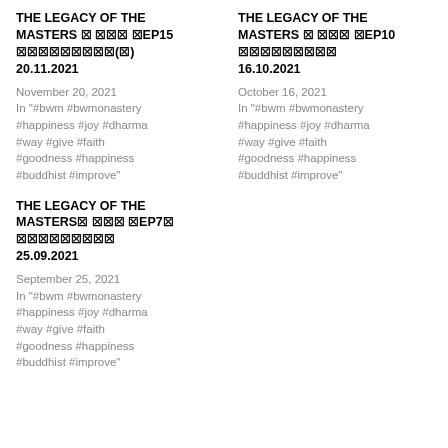THE LEGACY OF THE MASTERS 🔲 🔲🔲🔲 🔲EP15 🔲🔲🔲🔲🔲🔲🔲🔲🔲(🔲) 20.11.2021
November 20, 2021
In "#bwm #bwmonastery #happiness #joy #dharma #way #give #faith #goodness #happiness #buddhist #improve"
THE LEGACY OF THE MASTERS 🔲 🔲🔲🔲 🔲EP10 🔲🔲🔲🔲🔲🔲🔲🔲🔲 16.10.2021
October 16, 2021
In "#bwm #bwmonastery #happiness #joy #dharma #way #give #faith #goodness #happiness #buddhist #improve"
THE LEGACY OF THE MASTERS🔲 🔲🔲🔲 🔲EP7🔲 🔲🔲🔲🔲🔲🔲🔲🔲🔲 25.09.2021
September 25, 2021
In "#bwm #bwmonastery #happiness #joy #dharma #way #give #faith #goodness #happiness #buddhist #improve"